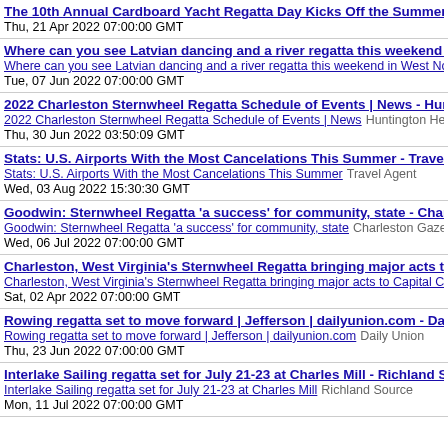The 10th Annual Cardboard Yacht Regatta Day Kicks Off the Summer Pool Season at the An...
Thu, 21 Apr 2022 07:00:00 GMT
Where can you see Latvian dancing and a river regatta this weekend in West Norfolk?
Where can you see Latvian dancing and a river regatta this weekend in West Norfolk? Lynn ...
Tue, 07 Jun 2022 07:00:00 GMT
2022 Charleston Sternwheel Regatta Schedule of Events | News - Huntington Herald Di...
2022 Charleston Sternwheel Regatta Schedule of Events | News  Huntington Herald Dispatch
Thu, 30 Jun 2022 03:50:09 GMT
Stats: U.S. Airports With the Most Cancelations This Summer - Travel Agent
Stats: U.S. Airports With the Most Cancelations This Summer  Travel Agent
Wed, 03 Aug 2022 15:30:30 GMT
Goodwin: Sternwheel Regatta 'a success' for community, state - Charleston Gazette-Ma...
Goodwin: Sternwheel Regatta 'a success' for community, state  Charleston Gazette-Mail
Wed, 06 Jul 2022 07:00:00 GMT
Charleston, West Virginia's Sternwheel Regatta bringing major acts to Capital City Jun...
Charleston, West Virginia's Sternwheel Regatta bringing major acts to Capital City June 30-Ju...
Sat, 02 Apr 2022 07:00:00 GMT
Rowing regatta set to move forward | Jefferson | dailyunion.com - Daily Union
Rowing regatta set to move forward | Jefferson | dailyunion.com  Daily Union
Thu, 23 Jun 2022 07:00:00 GMT
Interlake Sailing regatta set for July 21-23 at Charles Mill - Richland Source
Interlake Sailing regatta set for July 21-23 at Charles Mill  Richland Source
Mon, 11 Jul 2022 07:00:00 GMT